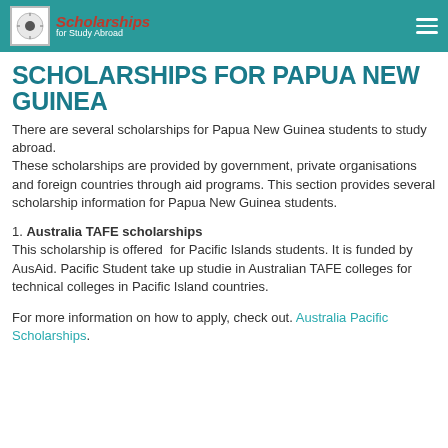Scholarships for Study Abroad
SCHOLARSHIPS FOR PAPUA NEW GUINEA
There are several scholarships for Papua New Guinea students to study abroad. These scholarships are provided by government, private organisations and foreign countries through aid programs. This section provides several scholarship information for Papua New Guinea students.
1. Australia TAFE scholarships
This scholarship is offered for Pacific Islands students. It is funded by AusAid. Pacific Student take up studie in Australian TAFE colleges for technical colleges in Pacific Island countries.
For more information on how to apply, check out. Australia Pacific Scholarships.